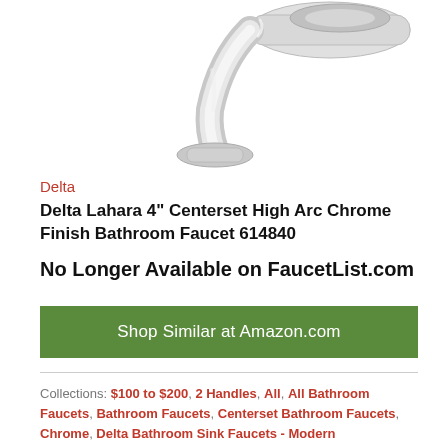[Figure (photo): Chrome bathroom faucet - Delta Lahara centerset high arc faucet, partially cropped at top of page showing the spout and body in chrome finish]
Delta
Delta Lahara 4" Centerset High Arc Chrome Finish Bathroom Faucet 614840
No Longer Available on FaucetList.com
Shop Similar at Amazon.com
Collections: $100 to $200, 2 Handles, All, All Bathroom Faucets, Bathroom Faucets, Centerset Bathroom Faucets, Chrome, Delta Bathroom Sink Faucets - Modern